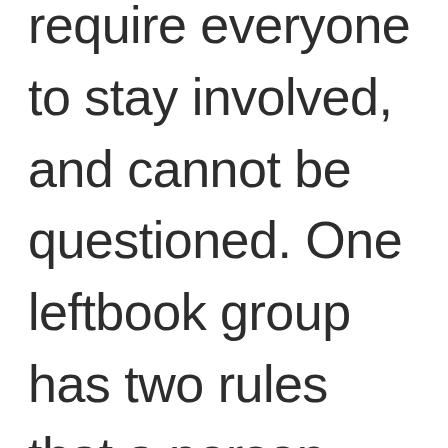require everyone to stay involved, and cannot be questioned. One leftbook group has two rules that a person might consider